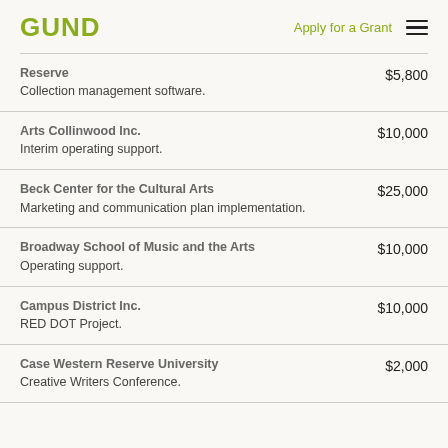GUND | Apply for a Grant
Reserve — Collection management software. $5,800
Arts Collinwood Inc. — Interim operating support. $10,000
Beck Center for the Cultural Arts — Marketing and communication plan implementation. $25,000
Broadway School of Music and the Arts — Operating support. $10,000
Campus District Inc. — RED DOT Project. $10,000
Case Western Reserve University — Creative Writers Conference. $2,000